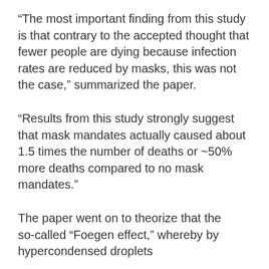“The most important finding from this study is that contrary to the accepted thought that fewer people are dying because infection rates are reduced by masks, this was not the case,” summarized the paper.
“Results from this study strongly suggest that mask mandates actually caused about 1.5 times the number of deaths or ~50% more deaths compared to no mask mandates.”
The paper went on to theorize that the so-called “Foegen effect,” whereby by hypercondensed droplets